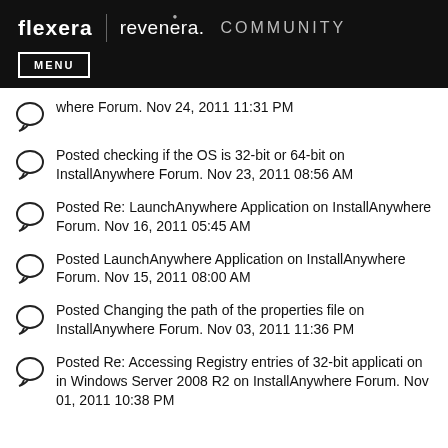Flexera | revenera. COMMUNITY
where Forum. Nov 24, 2011 11:31 PM
Posted checking if the OS is 32-bit or 64-bit on InstallAnywhere Forum. Nov 23, 2011 08:56 AM
Posted Re: LaunchAnywhere Application on InstallAnywhere Forum. Nov 16, 2011 05:45 AM
Posted LaunchAnywhere Application on InstallAnywhere Forum. Nov 15, 2011 08:00 AM
Posted Changing the path of the properties file on InstallAnywhere Forum. Nov 03, 2011 11:36 PM
Posted Re: Accessing Registry entries of 32-bit application on in Windows Server 2008 R2 on InstallAnywhere Forum. Nov 01, 2011 10:38 PM